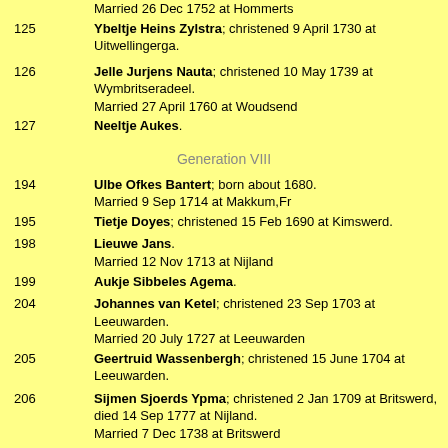Married 26 Dec 1752 at Hommerts
125 Ybeltje Heins Zylstra; christened 9 April 1730 at Uitwellingerga.
126 Jelle Jurjens Nauta; christened 10 May 1739 at Wymbritseradeel. Married 27 April 1760 at Woudsend
127 Neeltje Aukes.
Generation VIII
194 Ulbe Ofkes Bantert; born about 1680. Married 9 Sep 1714 at Makkum,Fr
195 Tietje Doyes; christened 15 Feb 1690 at Kimswerd.
198 Lieuwe Jans. Married 12 Nov 1713 at Nijland
199 Aukje Sibbeles Agema.
204 Johannes van Ketel; christened 23 Sep 1703 at Leeuwarden. Married 20 July 1727 at Leeuwarden
205 Geertruid Wassenbergh; christened 15 June 1704 at Leeuwarden.
206 Sijmen Sjoerds Ypma; christened 2 Jan 1709 at Britswerd, died 14 Sep 1777 at Nijland. Married 7 Dec 1738 at Britswerd
207 Fetje Cornelis Bosma; christened 9 Jan 1718 at Wieuwerd,